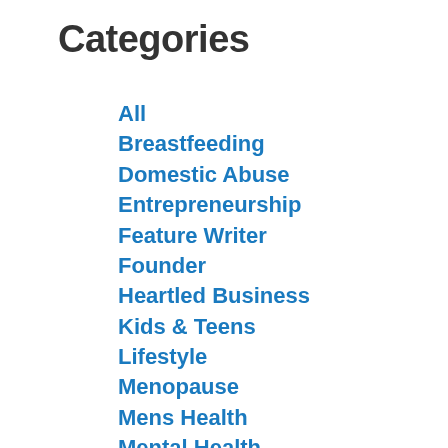Categories
All
Breastfeeding
Domestic Abuse
Entrepreneurship
Feature Writer
Founder
Heartled Business
Kids & Teens
Lifestyle
Menopause
Mens Health
Mental Health
Mindfulness
Mindset
Movement